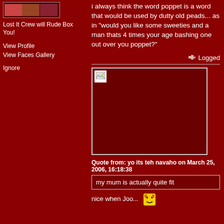[Figure (photo): Small avatar/profile image thumbnail at top left]
Lost It Crew will Rude Box You!
View Profile
View Faces Gallery
Ignore
i always think the word poppet is a word that would be used by dutty old peads... as in "would you like some sweeties and a man thats 4 times your age bashing one out over you poppet?"
Logged
[Figure (photo): Large embedded image placeholder (broken/missing image) with dark red background and border]
Quote from: yo its teh navaho on March 25, 2006, 16:18:38
my mum is actually quite fit
nice when Joo...